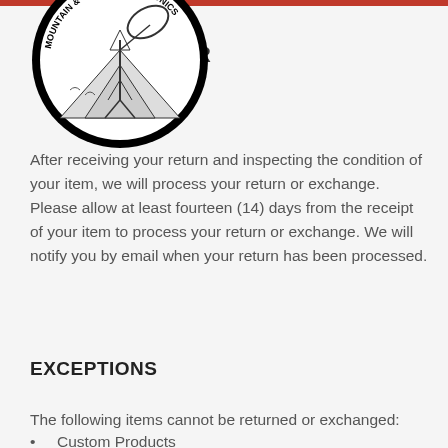[Figure (logo): Circular logo with black border showing a satellite dish on a mountain, with text around the top edge]
R
After receiving your return and inspecting the condition of your item, we will process your return or exchange. Please allow at least fourteen (14) days from the receipt of your item to process your return or exchange. We will notify you by email when your return has been processed.
EXCEPTIONS
The following items cannot be returned or exchanged:
Custom Products
For defective or damaged products, please contact us at the contact details below to arrange a refund or exchange.
QUESTIONS
If you have any questions concerning our return policy, please